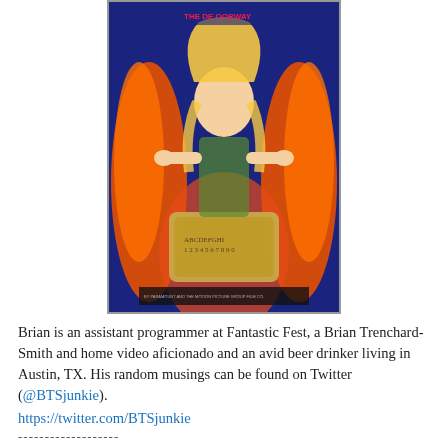[Figure (photo): Movie poster for a horror film featuring a woman with flames, holding a Ouija board]
Brian is an assistant programmer at Fantastic Fest, a Brian Trenchard-Smith and home video aficionado and an avid beer drinker living in Austin, TX. His random musings can be found on Twitter (@BTSjunkie).
https://twitter.com/BTSjunkie
-------------------
[Figure (photo): Dark corridor or hallway with green lighting at the end]